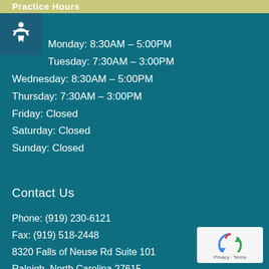Practice Hours
Monday: 8:30AM – 5:00PM
Tuesday: 7:30AM – 3:00PM
Wednesday: 8:30AM – 5:00PM
Thursday: 7:30AM – 3:00PM
Friday: Closed
Saturday: Closed
Sunday: Closed
Contact Us
Phone: (919) 230-6121
Fax: (919) 518-2448
8320 Falls of Neuse Rd Suite 101
Raleigh, North Carolina 27615
[Figure (logo): reCAPTCHA badge with Privacy and Terms links]